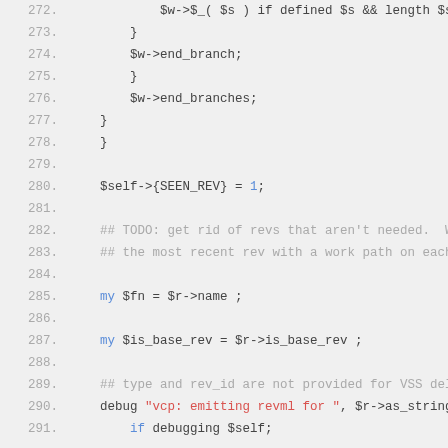Code listing lines 272-291, Perl source code
272.    $w->$_( $s ) if defined $s && length $s;
273.        }
274.        $w->end_branch;
275.        }
276.        $w->end_branches;
277.    }
278.    }
279.
280.    $self->{SEEN_REV} = 1;
281.
282.    ## TODO: get rid of revs that aren't needed.  We should only need
283.    ## the most recent rev with a work path on each branch.
284.
285.    my $fn = $r->name ;
286.
287.    my $is_base_rev = $r->is_base_rev ;
288.
289.    ## type and rev_id are not provided for VSS deletes
290.    debug "vcp: emitting revml for ", $r->as_string
291.        if debugging $self;